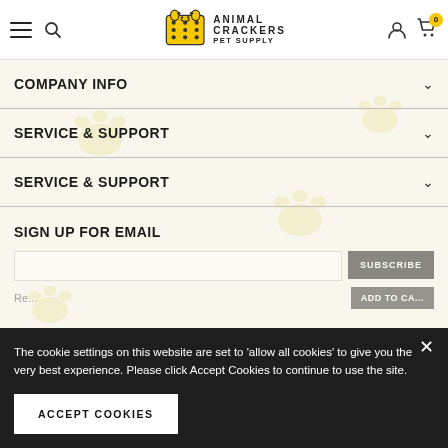Animal Crackers Pet Supply
COMPANY INFO
SERVICE & SUPPORT
SERVICE & SUPPORT
SIGN UP FOR EMAIL
The cookie settings on this website are set to 'allow all cookies' to give you the very best experience. Please click Accept Cookies to continue to use the site.
ACCEPT COOKIES